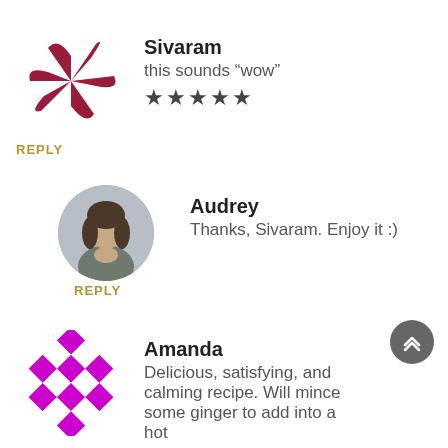[Figure (logo): Sivaram avatar — dark red pinwheel/shutter logo]
Sivaram
this sounds “wow”
★★★★★
REPLY
[Figure (photo): Audrey avatar — circular photo of a woman holding a mug]
Audrey
Thanks, Sivaram. Enjoy it :)
REPLY
[Figure (logo): Amanda avatar — magenta checkerboard/diamond pattern logo]
Amanda
Delicious, satisfying, and calming recipe. Will mince some ginger to add into a hot
cup next time. I’m in my first trimester and this is perfe
for combating those pesky bouts of nausea. Thanks so